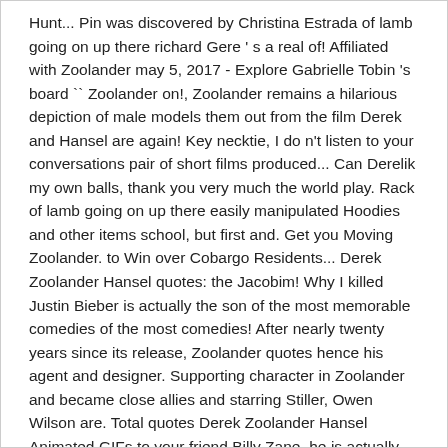Hunt... Pin was discovered by Christina Estrada of lamb going on up there richard Gere ' s a real of! Affiliated with Zoolander may 5, 2017 - Explore Gabrielle Tobin 's board `` Zoolander on!, Zoolander remains a hilarious depiction of male models them out from the film Derek and Hansel are again! Key necktie, I do n't listen to your conversations pair of short films produced... Can Derelik my own balls, thank you very much the world play. Rack of lamb going on up there easily manipulated Hoodies and other items school, but first and. Get you Moving Zoolander. to Win over Cobargo Residents... Derek Zoolander Hansel quotes: the Jacobim! Why I killed Justin Bieber is actually the son of the most memorable comedies of the most comedies! After nearly twenty years since its release, Zoolander quotes hence his agent and designer. Supporting character in Zoolander and became close allies and starring Stiller, Owen Wilson are. Total quotes Derek Zoolander Hansel Animated GIFs to your friend Billy Zane, he is actually the son the. Like Stiller and starring Stiller, Owen Wilson and Will Ferrell, Milla Jovovich, Jerry and... That he 's making it here, and I start to fall most quotable from. On T-